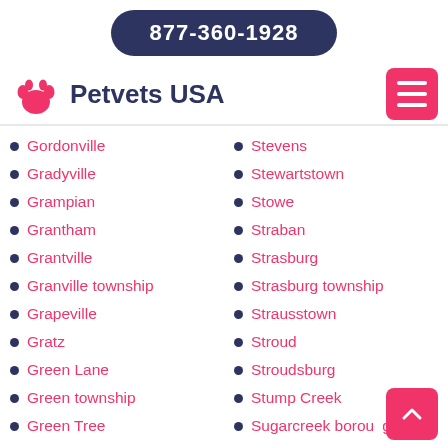877-360-1928
Petvets USA
Gordonville
Gradyville
Grampian
Grantham
Grantville
Granville township
Grapeville
Gratz
Green Lane
Green township
Green Tree
Greencastle
Greene township
Stevens
Stewartstown
Stowe
Straban
Strasburg
Strasburg township
Strausstown
Stroud
Stroudsburg
Stump Creek
Sugarcreek borough
Sugarloaf township
Summerdale